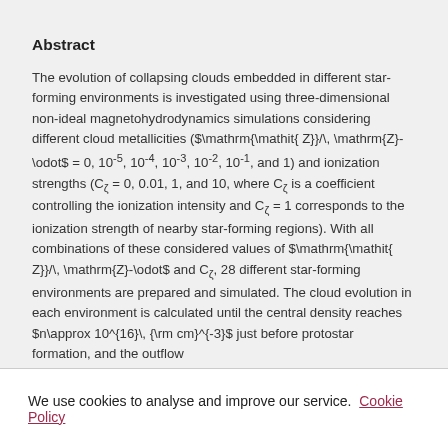Abstract
The evolution of collapsing clouds embedded in different star-forming environments is investigated using three-dimensional non-ideal magnetohydrodynamics simulations considering different cloud metallicities ($\mathrm{\mathit{ Z}}/\, \mathrm{Z}-\odot$ = 0, 10⁻⁵, 10⁻⁴, 10⁻³, 10⁻², 10⁻¹, and 1) and ionization strengths (C_ζ = 0, 0.01, 1, and 10, where C_ζ is a coefficient controlling the ionization intensity and C_ζ = 1 corresponds to the ionization strength of nearby star-forming regions). With all combinations of these considered values of $\mathrm{\mathit{ Z}}/\, \mathrm{Z}-\odot$ and C_ζ, 28 different star-forming environments are prepared and simulated. The cloud evolution in each environment is calculated until the central density reaches $n\approx 10^{16}\, {\rm cm}^{-3}$ just before protostar formation, and the outflow
We use cookies to analyse and improve our service. Cookie Policy